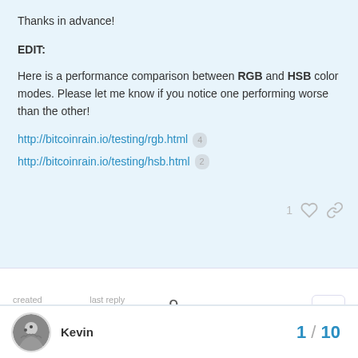Thanks in advance!
EDIT:
Here is a performance comparison between RGB and HSB color modes. Please let me know if you notice one performing worse than the other!
http://bitcoinrain.io/testing/rgb.html  4
http://bitcoinrain.io/testing/hsb.html  2
1 ♡ 🔗
created  Oct '18   last reply  Nov '18   9 replies
Kevin  1 / 10